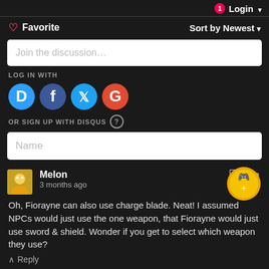Login
♡ Favorite   Sort by Newest
Join the discussion...
LOG IN WITH
[Figure (logo): Social login icons: Disqus (D, blue circle), Facebook (f, dark blue circle), Twitter (bird, light blue circle), Google (G, red circle)]
OR SIGN UP WITH DISQUS ?
Name
Melon
3 months ago
Oh, Fiorayne can also use charge blade. Neat! I assumed NPCs would just use the one weapon, that Fiorayne would just use sword & shield. Wonder if you get to select which weapon they use?
Reply